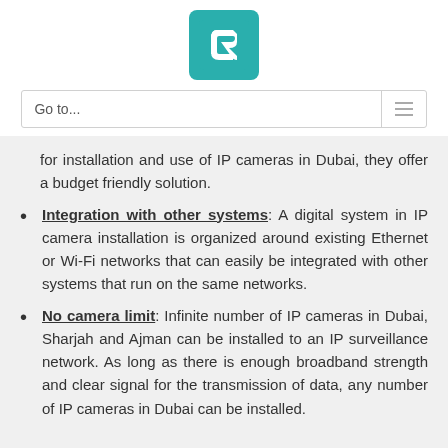[Figure (logo): Teal/green square logo with a white letter C shape inside]
Go to...
for installation and use of IP cameras in Dubai, they offer a budget friendly solution.
Integration with other systems: A digital system in IP camera installation is organized around existing Ethernet or Wi-Fi networks that can easily be integrated with other systems that run on the same networks.
No camera limit: Infinite number of IP cameras in Dubai, Sharjah and Ajman can be installed to an IP surveillance network. As long as there is enough broadband strength and clear signal for the transmission of data, any number of IP cameras in Dubai can be installed.